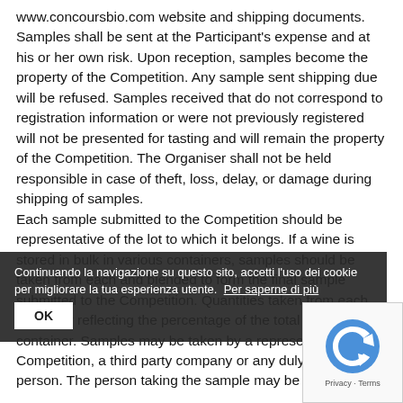www.concoursbio.com website and shipping documents. Samples shall be sent at the Participant's expense and at his or her own risk. Upon reception, samples become the property of the Competition. Any sample sent shipping due will be refused. Samples received that do not correspond to registration information or were not previously registered will not be presented for tasting and will remain the property of the Competition. The Organiser shall not be held responsible in case of theft, loss, delay, or damage during shipping of samples.
Each sample submitted to the Competition should be representative of the lot to which it belongs. If a wine is stored in bulk in various containers, samples should be taken from each and blended to form the final sample submitted to the Competition. Quantities taken from each container reflecting the percentage of the total stored in that container. Samples may be taken by a representative of the Competition, a third party company or any duly authorised person. The person taking the sample may be the wine
Continuando la navigazione su questo sito, accetti l'uso dei cookie per migliorare la tua esperienza utente. Per saperne di più